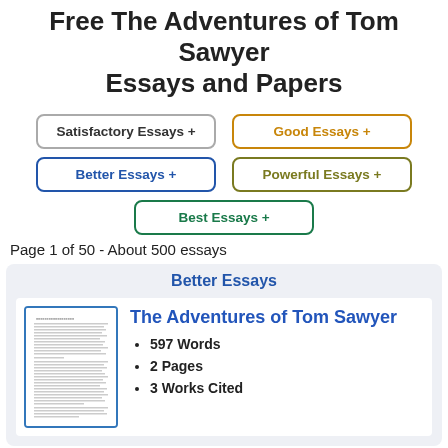Free The Adventures of Tom Sawyer Essays and Papers
Satisfactory Essays +
Good Essays +
Better Essays +
Powerful Essays +
Best Essays +
Page 1 of 50 - About 500 essays
Better Essays
[Figure (illustration): Thumbnail preview of a text document page with dense lines of small text]
The Adventures of Tom Sawyer
597 Words
2 Pages
3 Works Cited